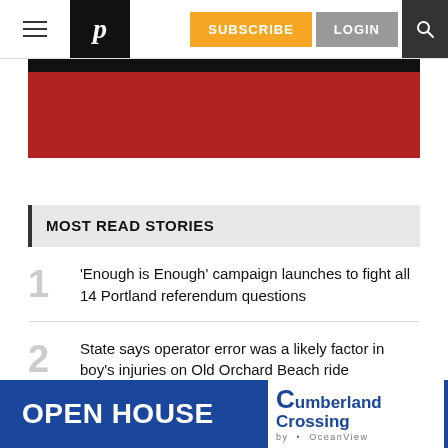Navigation bar with hamburger menu, P logo, SUBSCRIBE button, LOGIN button, search icon
[Figure (photo): Partial image with dark top band and red/crimson lower band, cropped at top of visible area]
MOST READ STORIES
1 'Enough is Enough' campaign launches to fight all 14 Portland referendum questions
2 State says operator error was a likely factor in boy's injuries on Old Orchard Beach ride
[Figure (illustration): Advertisement banner: OPEN HOUSE, Cumberland Crossing by OceanView]